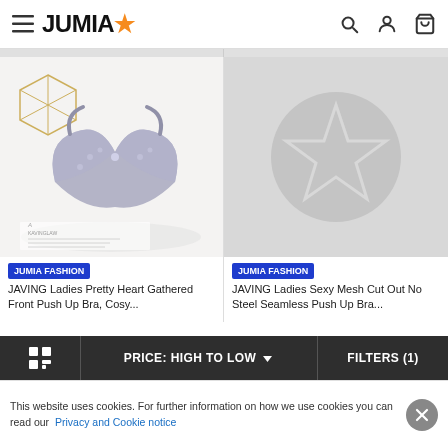JUMIA
[Figure (photo): JAVING Ladies Pretty Heart Gathered Front Push Up Bra product photo showing a grey lace bra on a white surface with a gold geometric decoration]
JUMIA FASHION
JAVING Ladies Pretty Heart Gathered Front Push Up Bra, Cosy...
[Figure (illustration): Placeholder image with grey background and white outlined star icon for second product]
JUMIA FASHION
JAVING Ladies Sexy Mesh Cut Out No Steel Seamless Push Up Bra...
PRICE: HIGH TO LOW
FILTERS (1)
This website uses cookies. For further information on how we use cookies you can read our Privacy and Cookie notice